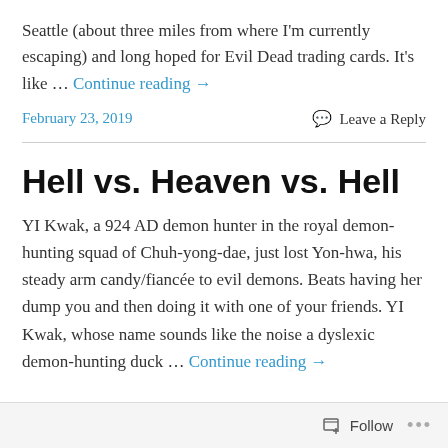Seattle (about three miles from where I'm currently escaping) and long hoped for Evil Dead trading cards. It's like … Continue reading →
February 23, 2019
Leave a Reply
Hell vs. Heaven vs. Hell
YI Kwak, a 924 AD demon hunter in the royal demon-hunting squad of Chuh-yong-dae, just lost Yon-hwa, his steady arm candy/fiancée to evil demons. Beats having her dump you and then doing it with one of your friends. YI Kwak, whose name sounds like the noise a dyslexic demon-hunting duck … Continue reading →
Follow ...